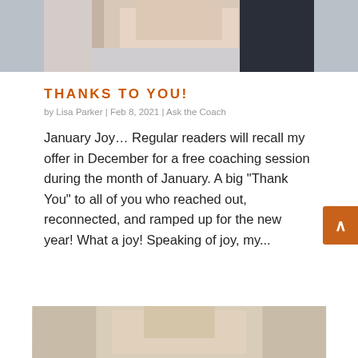[Figure (photo): Partial photo of a person, cropped at top showing neck and collar area with white and dark clothing]
THANKS TO YOU!
by Lisa Parker | Feb 8, 2021 | Ask the Coach
January Joy… Regular readers will recall my offer in December for a free coaching session during the month of January. A big “Thank You” to all of you who reached out, reconnected, and ramped up for the new year! What a joy! Speaking of joy, my...
[Figure (photo): Partial photo of a person, cropped at bottom showing top of head with blonde/light hair]